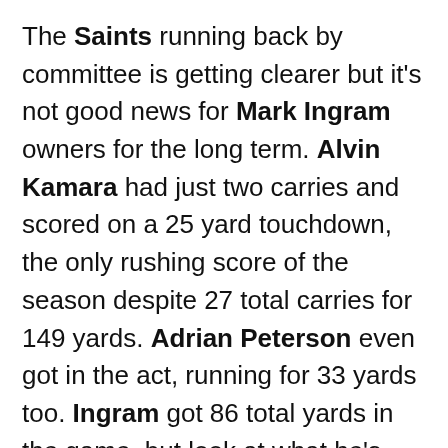The Saints running back by committee is getting clearer but it's not good news for Mark Ingram owners for the long term. Alvin Kamara had just two carries and scored on a 25 yard touchdown, the only rushing score of the season despite 27 total carries for 149 yards. Adrian Peterson even got in the act, running for 33 yards too. Ingram got 86 total yards in the game, but look at what he's done so far. Ingram has 28 carries for 125 rushing yards. 11 receptions for 108 yards and counting… and no scores through three games. Kamara has to